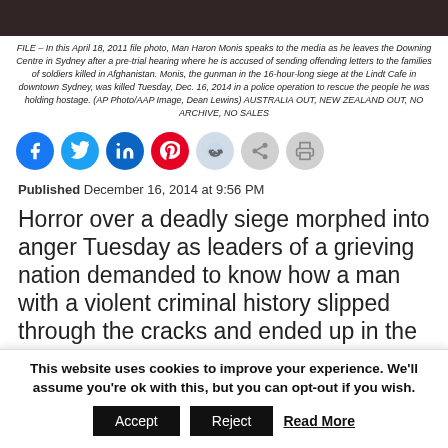[Figure (photo): Top portion of a photo showing Man Haron Monis, cropped at the top of the page]
FILE – In this April 18, 2011 file photo, Man Haron Monis speaks to the media as he leaves the Downing Centre in Sydney after a pre-trial hearing where he is accused of sending offending letters to the families of soldiers killed in Afghanistan. Monis, the gunman in the 16-hour-long siege at the Lindt Cafe in downtown Sydney, was killed Tuesday, Dec. 16, 2014 in a police operation to rescue the people he was holding hostage. (AP Photo/AAP Image, Dean Lewins) AUSTRALIA OUT, NEW ZEALAND OUT, NO ARCHIVE, NO SALES
[Figure (infographic): Social media share icons: Facebook, Twitter, LinkedIn, Pinterest, Reddit, Share, Print]
Published December 16, 2014 at 9:56 PM
Horror over a deadly siege morphed into anger Tuesday as leaders of a grieving nation demanded to know how a man with a violent criminal history slipped through the cracks and ended up in the downtown Sydney cafe where he took 17 people
This website uses cookies to improve your experience. We'll assume you're ok with this, but you can opt-out if you wish.